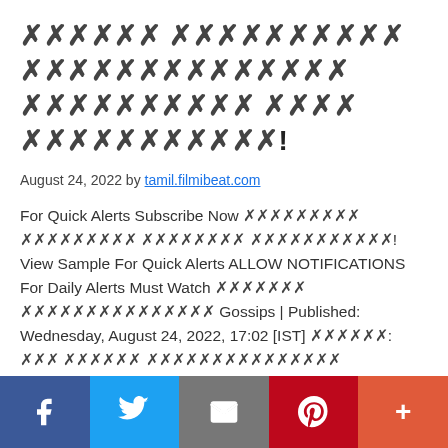🗷🗷🗷🗷🗷🗷 🗷🗷🗷🗷🗷🗷🗷🗷🗷🗷 🗷🗷🗷🗷🗷🗷🗷🗷🗷🗷🗷🗷🗷🗷 🗷🗷🗷🗷🗷🗷🗷🗷🗷🗷 🗷🗷🗷🗷 🗷🗷🗷🗷🗷🗷🗷🗷🗷🗷🗷!
August 24, 2022 by tamil.filmibeat.com
For Quick Alerts Subscribe Now [tofu text] [tofu text] [tofu text] [tofu text]! View Sample For Quick Alerts ALLOW NOTIFICATIONS For Daily Alerts Must Watch [tofu text] [tofu text] Gossips | Published: Wednesday, August 24, 2022, 17:02 [IST] [tofu]: [tofu text] [tofu text] [tofu text]
[Figure (infographic): Social share bar with Facebook, Twitter, Email, Pinterest, and More buttons]